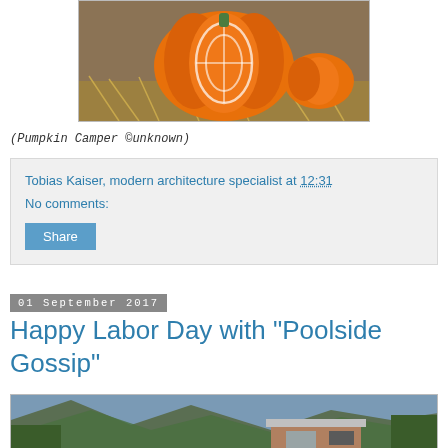[Figure (photo): Photo of carved/decorated pumpkins on hay/straw background]
(Pumpkin Camper ©unknown)
Tobias Kaiser, modern architecture specialist at 12:31
No comments:
Share
01 September 2017
Happy Labor Day with "Poolside Gossip"
[Figure (photo): Photo of a modern house with mountains in the background]